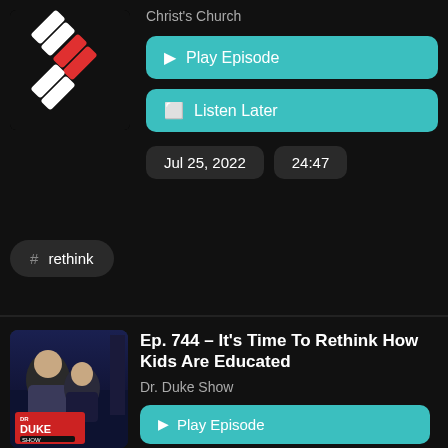[Figure (logo): Podcast thumbnail with white and red diagonal lines logo on black background]
Christ's Church
▶ Play Episode
☐ Listen Later
Jul 25, 2022
24:47
# rethink
[Figure (photo): Dr. Duke Show podcast thumbnail showing two hosts, a bald man and a woman, with Dr Duke Show branding]
Ep. 744 – It's Time To Rethink How Kids Are Educated
Dr. Duke Show
▶ Play Episode